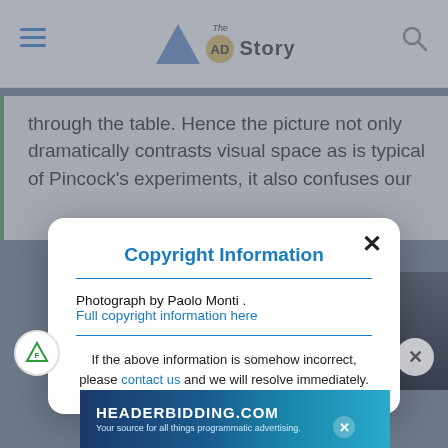The AD Story
through the table. Hence the picture not only dramatically contrasts visual space as is typical of Pincock's experiments, it also confuses our
Copyright Information
Photograph by Paolo Monti .
Full copyright information here
If the above information is somehow incorrect, please contact us and we will resolve immediately.